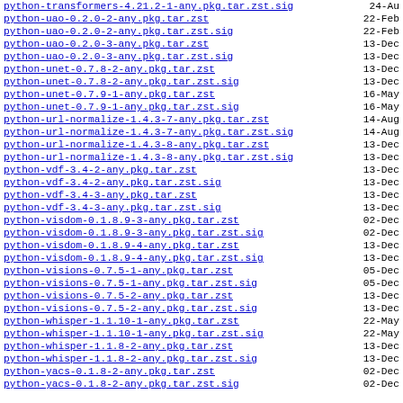python-transformers-4.21.2-1-any.pkg.tar.zst.sig | 24-Au
python-uao-0.2.0-2-any.pkg.tar.zst | 22-Feb
python-uao-0.2.0-2-any.pkg.tar.zst.sig | 22-Feb
python-uao-0.2.0-3-any.pkg.tar.zst | 13-Dec
python-uao-0.2.0-3-any.pkg.tar.zst.sig | 13-Dec
python-unet-0.7.8-2-any.pkg.tar.zst | 13-Dec
python-unet-0.7.8-2-any.pkg.tar.zst.sig | 13-Dec
python-unet-0.7.9-1-any.pkg.tar.zst | 16-May
python-unet-0.7.9-1-any.pkg.tar.zst.sig | 16-May
python-url-normalize-1.4.3-7-any.pkg.tar.zst | 14-Aug
python-url-normalize-1.4.3-7-any.pkg.tar.zst.sig | 14-Aug
python-url-normalize-1.4.3-8-any.pkg.tar.zst | 13-Dec
python-url-normalize-1.4.3-8-any.pkg.tar.zst.sig | 13-Dec
python-vdf-3.4-2-any.pkg.tar.zst | 13-Dec
python-vdf-3.4-2-any.pkg.tar.zst.sig | 13-Dec
python-vdf-3.4-3-any.pkg.tar.zst | 13-Dec
python-vdf-3.4-3-any.pkg.tar.zst.sig | 13-Dec
python-visdom-0.1.8.9-3-any.pkg.tar.zst | 02-Dec
python-visdom-0.1.8.9-3-any.pkg.tar.zst.sig | 02-Dec
python-visdom-0.1.8.9-4-any.pkg.tar.zst | 13-Dec
python-visdom-0.1.8.9-4-any.pkg.tar.zst.sig | 13-Dec
python-visions-0.7.5-1-any.pkg.tar.zst | 05-Dec
python-visions-0.7.5-1-any.pkg.tar.zst.sig | 05-Dec
python-visions-0.7.5-2-any.pkg.tar.zst | 13-Dec
python-visions-0.7.5-2-any.pkg.tar.zst.sig | 13-Dec
python-whisper-1.1.10-1-any.pkg.tar.zst | 22-May
python-whisper-1.1.10-1-any.pkg.tar.zst.sig | 22-May
python-whisper-1.1.8-2-any.pkg.tar.zst | 13-Dec
python-whisper-1.1.8-2-any.pkg.tar.zst.sig | 13-Dec
python-yacs-0.1.8-2-any.pkg.tar.zst | 02-Dec
python-yacs-0.1.8-2-any.pkg.tar.zst.sig | 02-Dec